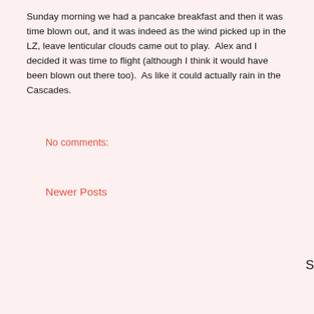Sunday morning we had a pancake breakfast and then it was time blown out, and it was indeed as the wind picked up in the LZ, leave lenticular clouds came out to play.  Alex and I decided it was time to flight (although I think it would have been blown out there too).  As like it could actually rain in the Cascades.
No comments:
Newer Posts
S